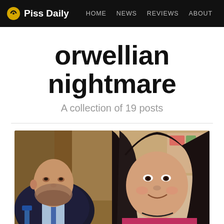Piss Daily — HOME  NEWS  REVIEWS  ABOUT
orwellian nightmare
A collection of 19 posts
[Figure (photo): Two side-by-side photos: on the left, a heavyset man in a dark suit sitting at a desk; on the right, a person with long dark hair smiling at the camera in what appears to be a bedroom.]